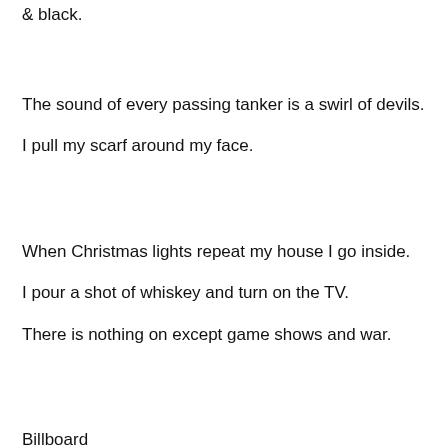& black.
The sound of every passing tanker is a swirl of devils.
I pull my scarf around my face.
When Christmas lights repeat my house I go inside.
I pour a shot of whiskey and turn on the TV.
There is nothing on except game shows and war.
Billboard